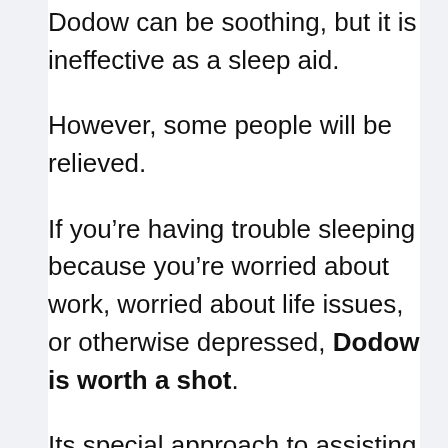Dodow can be soothing, but it is ineffective as a sleep aid.
However, some people will be relieved.
If you’re having trouble sleeping because you’re worried about work, worried about life issues, or otherwise depressed, Dodow is worth a shot.
Its special approach to assisting us in falling asleep naturally is ideal for people